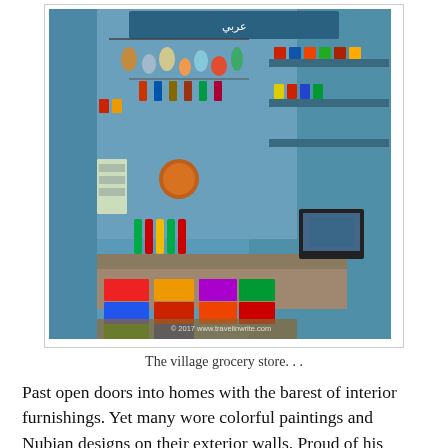[Figure (photo): A small blue-painted village grocery store packed with colorful goods — canned food, bottles, snacks, hanging items. A small TV sits on the right side. A watermark reads '© 2017 www.travelinwrite.com'.]
The village grocery store. . .
Past open doors into homes with the barest of interior furnishings. Yet many wore colorful paintings and Nubian designs on their exterior walls. Proud of his village and a fountain of facts about it, our guide/Mayor would point out places I should photograph including this home with a crocodile skull hanging above the door.